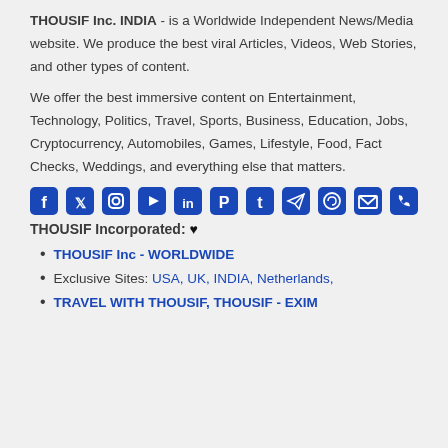THOUSIF Inc. INDIA - is a Worldwide Independent News/Media website. We produce the best viral Articles, Videos, Web Stories, and other types of content.
We offer the best immersive content on Entertainment, Technology, Politics, Travel, Sports, Business, Education, Jobs, Cryptocurrency, Automobiles, Games, Lifestyle, Food, Fact Checks, Weddings, and everything else that matters.
[Figure (infographic): Row of 11 social media icons in dark blue: Facebook, Twitter, Instagram, YouTube, LinkedIn, Pinterest, Tumblr, Telegram, WhatsApp, Email, Phone]
THOUSIF Incorporated: ♥
THOUSIF Inc - WORLDWIDE
Exclusive Sites: USA, UK, INDIA, Netherlands,
TRAVEL WITH THOUSIF, THOUSIF - EXIM